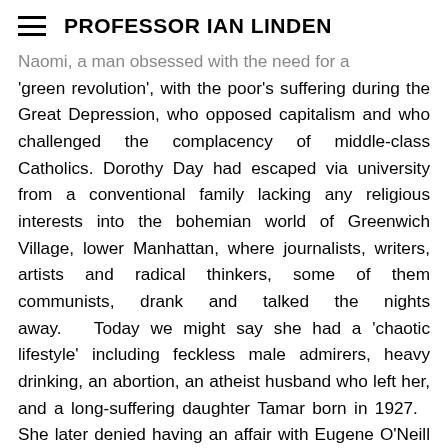PROFESSOR IAN LINDEN
Naomi, a man obsessed with the need for a 'green revolution', with the poor's suffering during the Great Depression, who opposed capitalism and who challenged the complacency of middle-class Catholics. Dorothy Day had escaped via university from a conventional family lacking any religious interests into the bohemian world of Greenwich Village, lower Manhattan, where journalists, writers, artists and radical thinkers, some of them communists, drank and talked the nights away.   Today we might say she had a 'chaotic lifestyle' including feckless male admirers, heavy drinking, an abortion, an atheist husband who left her, and a long-suffering daughter Tamar born in 1927.   She later denied having an affair with Eugene O'Neill but they were close.